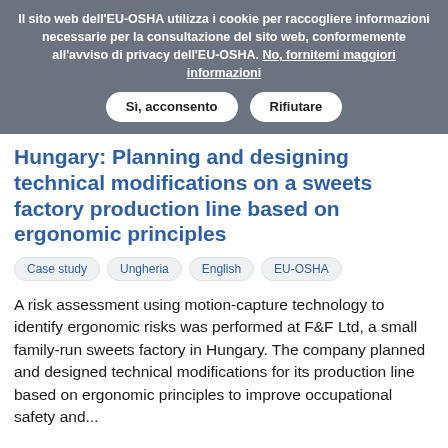Il sito web dell'EU-OSHA utilizza i cookie per raccogliere informazioni necessarie per la consultazione del sito web, conformemente all'avviso di privacy dell'EU-OSHA. No, fornitemi maggiori informazioni
Sì, acconsento | Rifiutare
Hungary: Planning and designing technical modifications on a sweets factory production line based on ergonomic principles
Case study
Ungheria
English
EU-OSHA
A risk assessment using motion-capture technology to identify ergonomic risks was performed at F&F Ltd, a small family-run sweets factory in Hungary. The company planned and designed technical modifications for its production line based on ergonomic principles to improve occupational safety and...